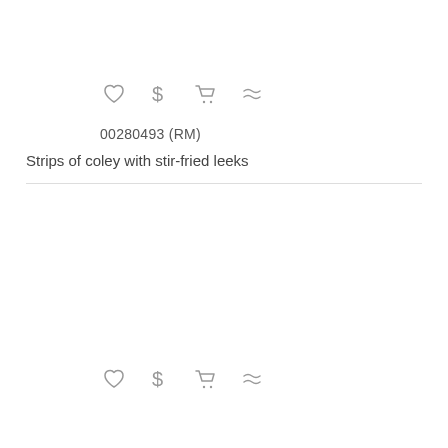[Figure (infographic): Row of four icons: heart (favorite), dollar sign (price), shopping cart (add to cart), approximately equal sign (similar)]
00280493 (RM)
Strips of coley with stir-fried leeks
[Figure (infographic): Row of four icons: heart (favorite), dollar sign (price), shopping cart (add to cart), approximately equal sign (similar)]